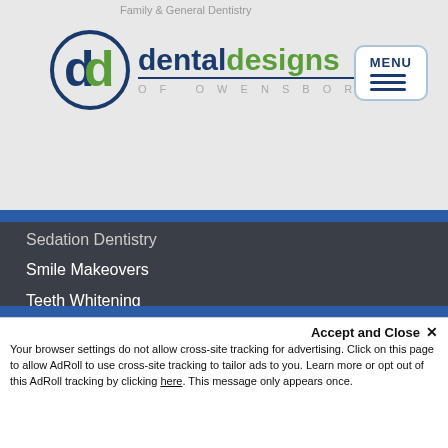Family & General Dentistry
[Figure (logo): Dental Designs of Owensboro logo with circular dd emblem and text]
[Figure (other): MENU button with hamburger lines icon]
Sedation Dentistry
Smile Makeovers
Teeth Whitening
Tooth Bonding
Tooth Restoration & Replacement
Tooth & Gum Contouring
Veneers
PATIENT RESOURCES
Smile Gallery
Video Testimonials
Accept and Close ✕
Your browser settings do not allow cross-site tracking for advertising. Click on this page to allow AdRoll to use cross-site tracking to tailor ads to you. Learn more or opt out of this AdRoll tracking by clicking here. This message only appears once.